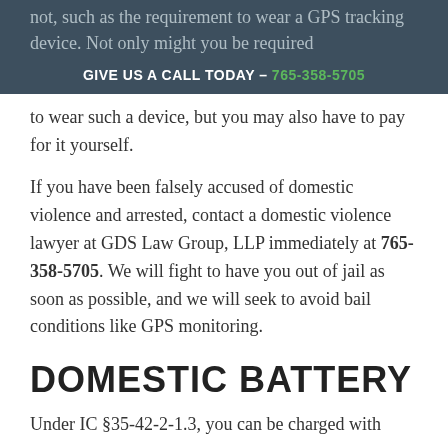not, such as the requirement to wear a GPS tracking device. Not only might you be required
GIVE US A CALL TODAY – 765-358-5705
to wear such a device, but you may also have to pay for it yourself.
If you have been falsely accused of domestic violence and arrested, contact a domestic violence lawyer at GDS Law Group, LLP immediately at 765-358-5705. We will fight to have you out of jail as soon as possible, and we will seek to avoid bail conditions like GPS monitoring.
DOMESTIC BATTERY
Under IC §35-42-2-1.3, you can be charged with